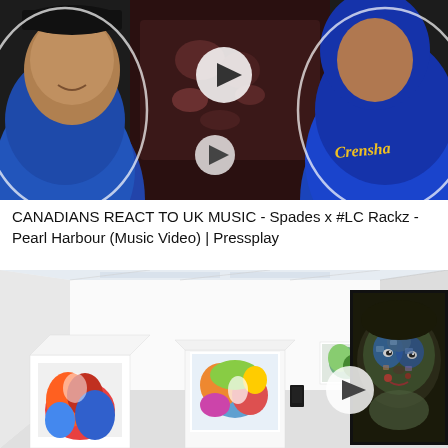[Figure (screenshot): Video thumbnail showing two men reacting to music. Man on left wearing blue hoodie, man on right wearing blue Crenshaw hoodie. Play button overlay in center. Dark moody background.]
CANADIANS REACT TO UK MUSIC - Spades x #LC Rackz - Pearl Harbour (Music Video) | Pressplay
[Figure (screenshot): Video thumbnail showing a white gallery interior with colorful paintings on walls and pedestals. A detailed portrait painting of a face on the right side. Play button overlay in center.]